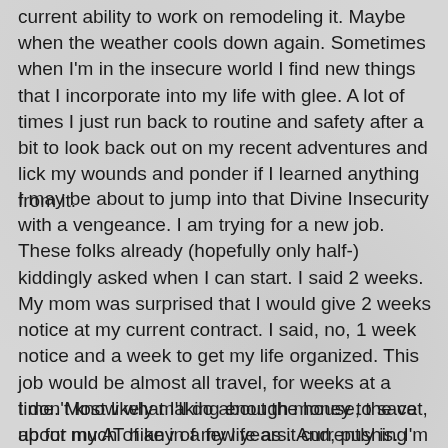current ability to work on remodeling it. Maybe when the weather cools down again. Sometimes when I'm in the insecure world I find new things that I incorporate into my life with glee. A lot of times I just run back to routine and safety after a bit to look back out on my recent adventures and lick my wounds and ponder if I learned anything from it.
I may be about to jump into that Divine Insecurity with a vengeance. I am trying for a new job. These folks already (hopefully only half-) kiddingly asked when I can start. I said 2 weeks. My mom was surprised that I would give 2 weeks notice at my current contract. I said, no, 1 week notice and a week to get my life organized. This job would be almost all travel, for weeks at a time. Most likely making enough money to save up for my AT hike in a few years. And, pushing everything I ever knew about computers, servers, software, network administration, and training to limits I've not done before. I'm reaching for the ginkgo biloba as I type (the mind needs all the help it can get to cram new info into it).
I don't know what I'll do about the house, the cat, about much of any of my life as it currently is. I'm not going to get